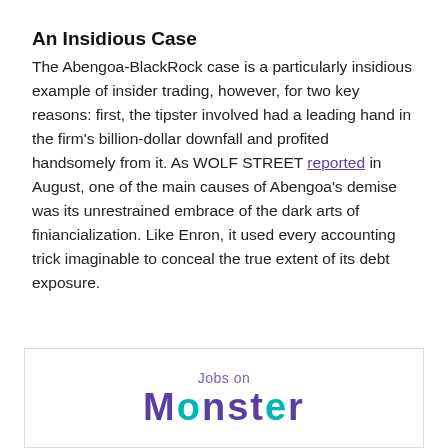An Insidious Case
The Abengoa-BlackRock case is a particularly insidious example of insider trading, however, for two key reasons: first, the tipster involved had a leading hand in the firm's billion-dollar downfall and profited handsomely from it. As WOLF STREET reported in August, one of the main causes of Abengoa's demise was its unrestrained embrace of the dark arts of finiancialization. Like Enron, it used every accounting trick imaginable to conceal the true extent of its debt exposure.
[Figure (other): Advertisement banner for Jobs on Monster. Shows 'Jobs on' in purple text above 'MONSTER' in large bold purple and teal lettering.]